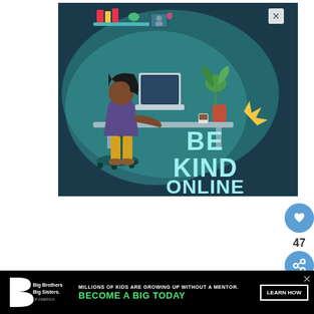[Figure (illustration): Ad illustration showing a person with curly hair sitting at a desk with a laptop in a teal/dark blue workspace. Text reads 'BE KIND ONLINE' in large cyan letters. Close button (X) in top right corner.]
[Figure (infographic): Heart (like) button in blue circle on right sidebar showing count of 47, and a share button below it]
[Figure (infographic): Bottom banner ad: Big Brothers Big Sisters logo on black background, text 'MILLIONS OF KIDS ARE GROWING UP WITHOUT A MENTOR. BECOME A BIG TODAY' with 'Learn How' button. Close X button on right side.]